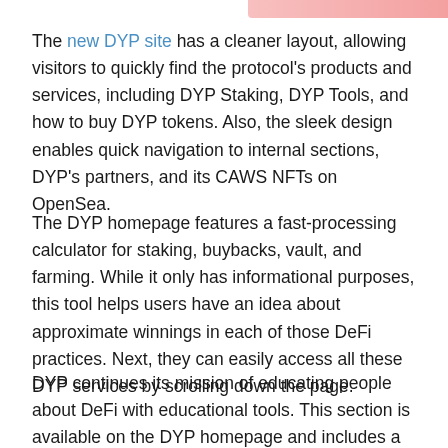The new DYP site has a cleaner layout, allowing visitors to quickly find the protocol's products and services, including DYP Staking, DYP Tools, and how to buy DYP tokens. Also, the sleek design enables quick navigation to internal sections, DYP's partners, and its CAWS NFTs on OpenSea.
The DYP homepage features a fast-processing calculator for staking, buybacks, vault, and farming. While it only has informational purposes, this tool helps users have an idea about approximate winnings in each of those DeFi practices. Next, they can easily access all these DYP services by scrolling down the page.
DYP continues its mission of educating people about DeFi with educational tools. This section is available on the DYP homepage and includes a quick start guide in staking and how to videos. Lastly, visitors can switch the website's look